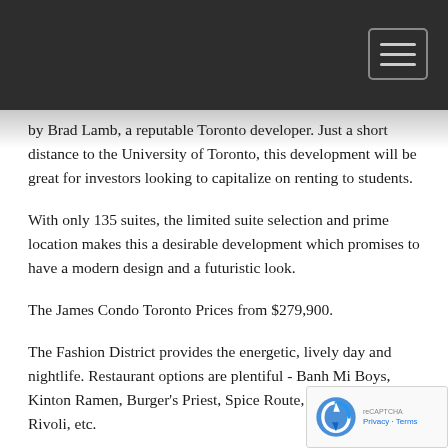by Brad Lamb, a reputable Toronto developer. Just a short distance to the University of Toronto, this development will be great for investors looking to capitalize on renting to students.
With only 135 suites, the limited suite selection and prime location makes this a desirable development which promises to have a modern design and a futuristic look.
The James Condo Toronto Prices from $279,900.
The Fashion District provides the energetic, lively day and nightlife. Restaurant options are plentiful - Banh Mi Boys, Kinton Ramen, Burger's Priest, Spice Route, Jacob, Weslodge, Rivoli, etc.
For nightlife, enjoy a short walk to EFS, SpiN, Uniun,